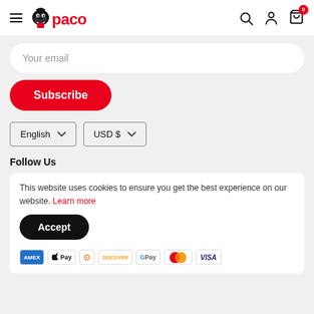Paco — Navigation header with hamburger menu, logo, search, account, and cart icons
Your email
Subscribe
English
USD $
Follow Us
This website uses cookies to ensure you get the best experience on our website. Learn more
Accept
[Figure (other): Payment method icons: AMEX, Apple Pay, Diners Club, Discover, Google Pay, Mastercard, Visa]